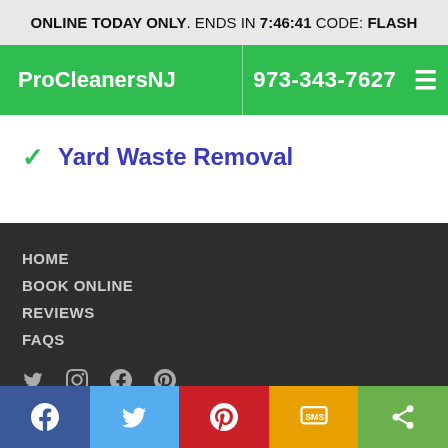ONLINE TODAY ONLY. ENDS IN 7:46:41 CODE: FLASH
ProCleanersNJ
973-343-7627
✓ Yard Waste Removal
HOME
BOOK ONLINE
REVIEWS
FAQS
WE ACCEPT
Social share bar: Facebook, Twitter, Pinterest, SMS, Share